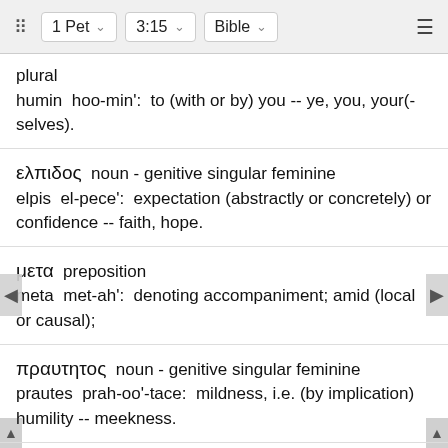⠿   1 Pet   ∨   3:15   ∨   Bible   ∨   ≡
plural
humin  hoo-min':  to (with or by) you -- ye, you, your(-selves).
ελπιδος  noun - genitive singular feminine
elpis  el-pece':  expectation (abstractly or concretely) or confidence -- faith, hope.
μετα  preposition
meta  met-ah':  denoting accompaniment; amid (local or causal);
πραυτητος  noun - genitive singular feminine
prautes  prah-oo'-tace:  mildness, i.e. (by implication) humility -- meekness.
και  conjunction
kai  kahee:  and, also, even, so then, too, etc.; often used in connection (or composition) with other particles or small words